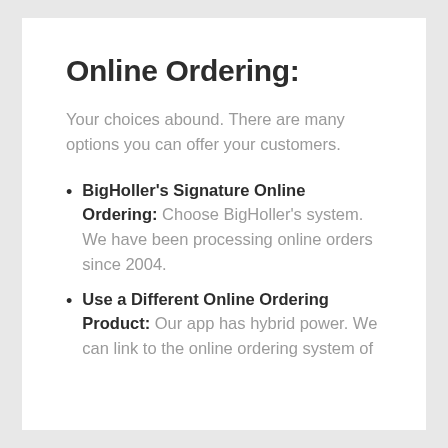Online Ordering:
Your choices abound. There are many options you can offer your customers.
BigHoller's Signature Online Ordering: Choose BigHoller's system. We have been processing online orders since 2004.
Use a Different Online Ordering Product: Our app has hybrid power. We can link to the online ordering system of